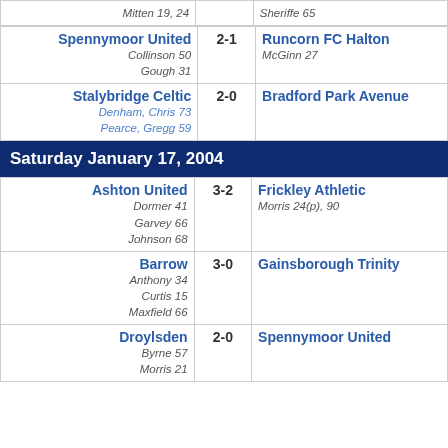| Home | Score | Away |
| --- | --- | --- |
| Spennymoor United
Collinson 50
Gough 31 | 2-1 | Runcorn FC Halton
McGinn 27 |
| Stalybridge Celtic
Denham, Chris 73
Pearce, Gregg 59 | 2-0 | Bradford Park Avenue |
Saturday January 17, 2004
| Home | Score | Away |
| --- | --- | --- |
| Ashton United
Dormer 41
Garvey 66
Johnson 68 | 3-2 | Frickley Athletic
Morris 24(p), 90 |
| Barrow
Anthony 34
Curtis 15
Maxfield 66 | 3-0 | Gainsborough Trinity |
| Droylsden
Byrne 57
Morris 21 | 2-0 | Spennymoor United |